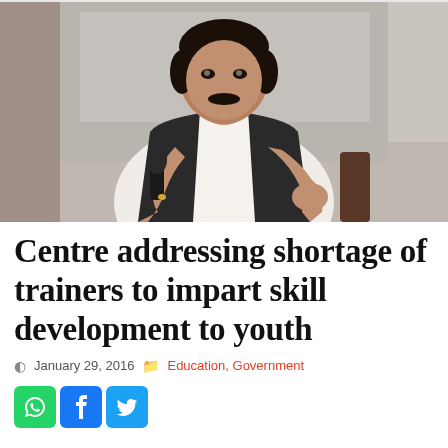[Figure (photo): A man in a black vest over white shirt speaking into a microphone, gesturing with his right hand, at an indoor event.]
Centre addressing shortage of trainers to impart skill development to youth
January 29, 2016   Education, Government
[Figure (infographic): Social share buttons: WhatsApp (green), Facebook (blue), Twitter (light blue)]